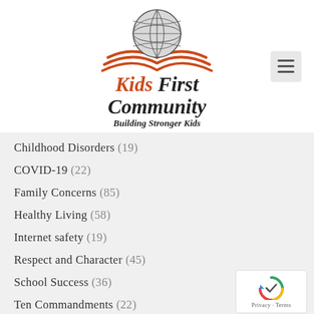[Figure (logo): Kids First Community logo — globe with orange wave lines beneath it, resembling an open book]
Kids First Community
Building Stronger Kids
Childhood Disorders (19)
COVID-19 (22)
Family Concerns (85)
Healthy Living (58)
Internet safety (19)
Respect and Character (45)
School Success (36)
Ten Commandments (22)